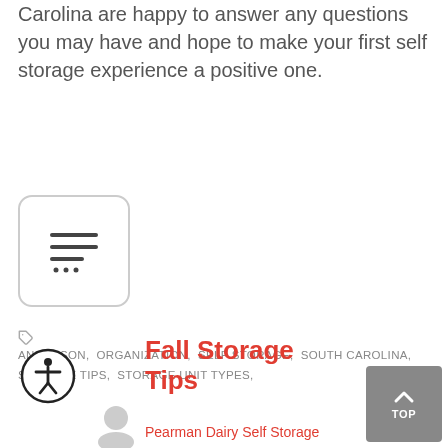Carolina are happy to answer any questions you may have and hope to make your first self storage experience a positive one.
[Figure (illustration): A rounded square icon box with three horizontal lines (list/menu icon) inside, representing a table of contents or article icon]
ANDERSON, ORGANIZATION, SELF STORAGE, SOUTH CAROLINA, STORAGE TIPS, STORAGE UNIT TYPES,
Fall Storage Tips
Pearman Dairy Self Storage